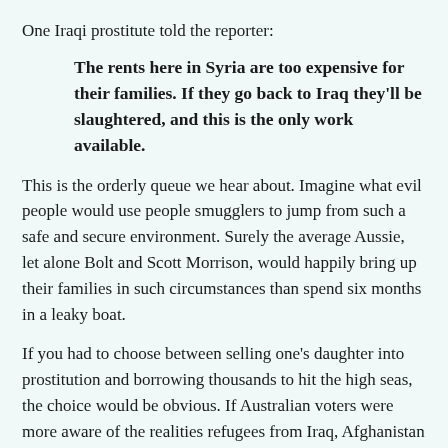One Iraqi prostitute told the reporter:
The rents here in Syria are too expensive for their families. If they go back to Iraq they'll be slaughtered, and this is the only work available.
This is the orderly queue we hear about. Imagine what evil people would use people smugglers to jump from such a safe and secure environment. Surely the average Aussie, let alone Bolt and Scott Morrison, would happily bring up their families in such circumstances than spend six months in a leaky boat.
If you had to choose between selling one's daughter into prostitution and borrowing thousands to hit the high seas, the choice would be obvious. If Australian voters were more aware of the realities refugees from Iraq, Afghanistan and Iran must face, they would punish politicians who used imbecilic terms like "queue-jumper".
If anything good comes out of the Christmas Island tragedy, it will